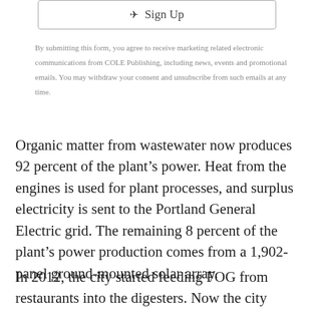[Figure (other): Sign Up button with paper plane icon, bordered rectangle]
By submitting this form, you agree to receive marketing related electronic communications from COLE Publishing, including news, events and promotional emails. You may withdraw your consent and unsubscribe from such emails at any time.
Organic matter from wastewater now produces 92 percent of the plant’s power. Heat from the engines is used for plant processes, and surplus electricity is sent to the Portland General Electric grid. The remaining 8 percent of the plant’s power production comes from a 1,902-panel ground-mounted solar array.
In 2012, the city started feeding FOG from restaurants into the digesters. Now the city charges restaurants for taking the material. “We collect about